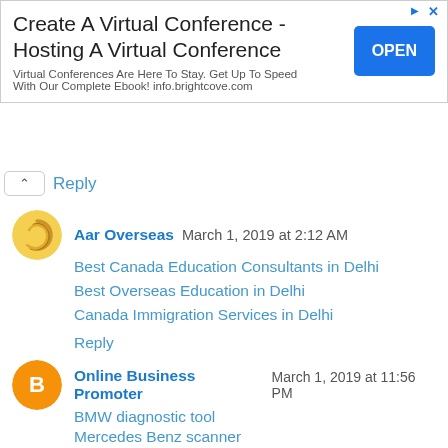[Figure (other): Advertisement banner: 'Create A Virtual Conference - Hosting A Virtual Conference' with OPEN button. Text: 'Virtual Conferences Are Here To Stay. Get Up To Speed With Our Complete Ebook! info.brightcove.com']
Reply
Aar Overseas  March 1, 2019 at 2:12 AM
Best Canada Education Consultants in Delhi
Best Overseas Education in Delhi
Canada Immigration Services in Delhi
Reply
Online Business Promoter  March 1, 2019 at 11:56 PM
BMW diagnostic tool
Mercedes Benz scanner
Porsche scanner